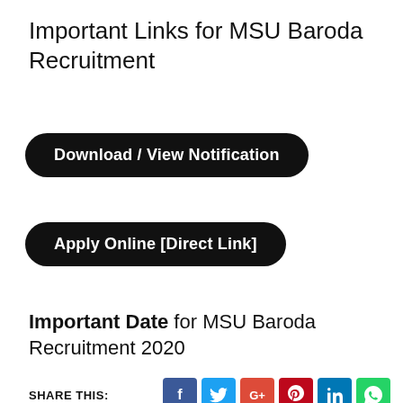Important Links for MSU Baroda Recruitment
Download / View Notification
Apply Online [Direct Link]
Important Date for MSU Baroda Recruitment 2020
SHARE THIS:
[Figure (infographic): Social share buttons: Facebook (blue), Twitter (cyan), Google+ (red), Pinterest (dark red), LinkedIn (blue), WhatsApp (green)]
[Figure (logo): IndianOil logo - circular orange and blue logo with Hindi text 'इंडियनऑयल']
લાયકાત: 12 પાસ
પગાર: 78000 સુધી